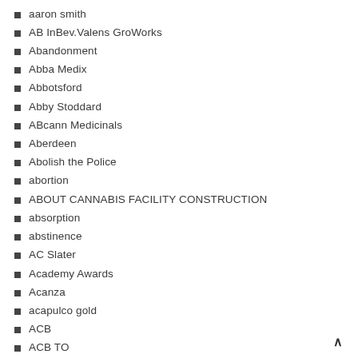aaron smith
AB InBev.Valens GroWorks
Abandonment
Abba Medix
Abbotsford
Abby Stoddard
ABcann Medicinals
Aberdeen
Abolish the Police
abortion
ABOUT CANNABIS FACILITY CONSTRUCTION
absorption
abstinence
AC Slater
Academy Awards
Acanza
acapulco gold
ACB
ACB TO
access
access to banking services